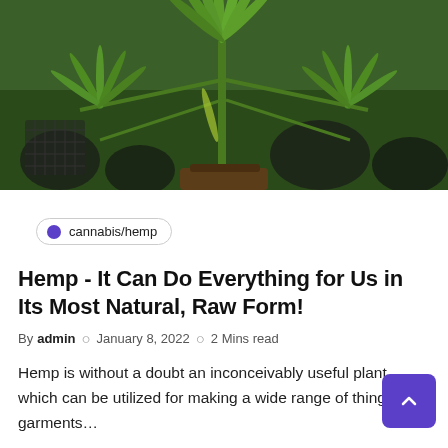[Figure (photo): Close-up photo of a hemp/cannabis plant with distinctive serrated leaves, green foliage, with black plastic plant pots visible in the background.]
cannabis/hemp
Hemp - It Can Do Everything for Us in Its Most Natural, Raw Form!
By admin  o  January 8, 2022  o  2 Mins read
Hemp is without a doubt an inconceivably useful plant which can be utilized for making a wide range of things from garments…